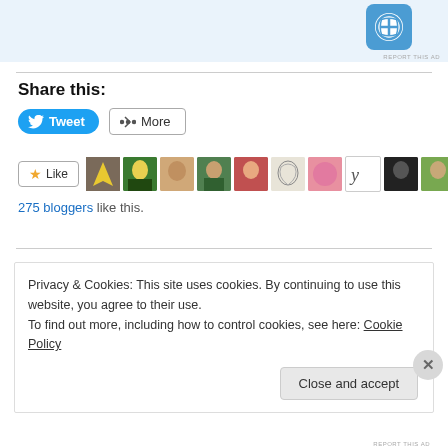[Figure (screenshot): Top portion of a webpage showing a WordPress logo on a light blue ad banner with 'REPORT THIS AD' text below]
Share this:
[Figure (screenshot): Tweet button (blue, rounded) and More button (bordered)]
[Figure (screenshot): Like button with star icon followed by 12 blogger avatar thumbnails]
275 bloggers like this.
Privacy & Cookies: This site uses cookies. By continuing to use this website, you agree to their use.
To find out more, including how to control cookies, see here: Cookie Policy
Close and accept